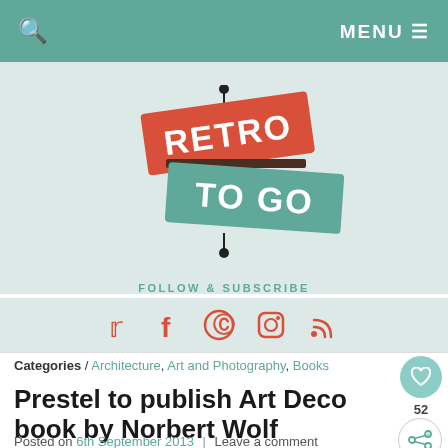MENU
[Figure (logo): Retro To Go logo — red banner with 'RETRO' text and teal banner with 'TO GO' text, mid-century modern style with dot and stem decoration]
FOLLOW & SUBSCRIBE
Social media icons: Twitter, Facebook, Pinterest, Instagram, RSS
Categories / Architecture, Art and Photography, Books
Prestel to publish Art Deco book by Norbert Wolf
Posted on 6th September 2013  |  Leave a comment